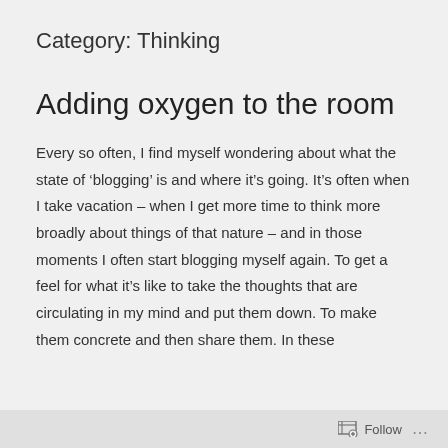Category: Thinking
Adding oxygen to the room
Every so often, I find myself wondering about what the state of ‘blogging’ is and where it’s going. It’s often when I take vacation – when I get more time to think more broadly about things of that nature – and in those moments I often start blogging myself again. To get a feel for what it’s like to take the thoughts that are circulating in my mind and put them down. To make them concrete and then share them. In these
Follow ...